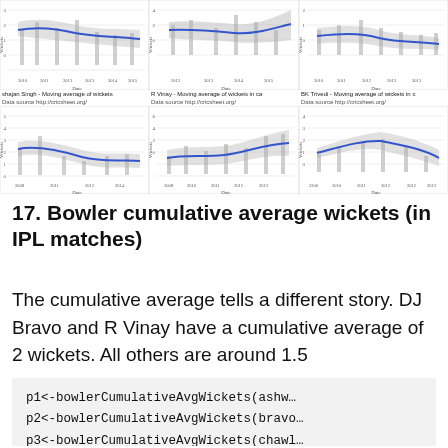[Figure (continuous-plot): Top row of three line charts showing moving average of wickets over time (dates ~2010-2015) for different bowlers. Blue smoothed line with grey confidence band over grey vertical bar chart background. Y-axis: Wickets, X-axis: Date.]
shajan Singh - Moving average of wickets   R Vinay - Moving average of wickets in ca   BK Trivedi - Moving average of wickets in c
Data source http://cricsheet.org/   Data source http://cricsheet.org/   Data source http://cricsheet.org/
[Figure (continuous-plot): Bottom row of three line charts showing moving average of wickets over time (dates ~2008-2014) for different bowlers. Blue smoothed line with grey confidence band over grey vertical bar chart background. Y-axis: Wickets, X-axis: Date.]
17. Bowler cumulative average wickets (in IPL matches)
The cumulative average tells a different story. DJ Bravo and R Vinay have a cumulative average of 2 wickets. All others are around 1.5
p1<-bowlerCumulativeAvgWickets(ashw
p2<-bowlerCumulativeAvgWickets(bravo
p3<-bowlerCumulativeAvgWickets(chawl